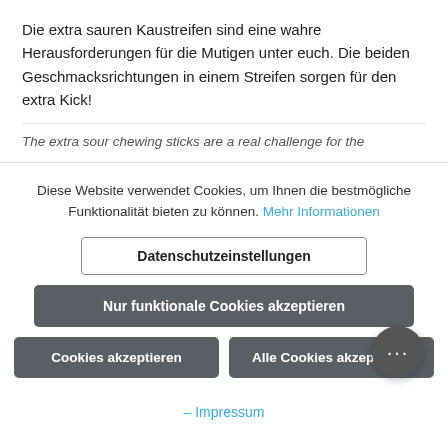Die extra sauren Kaustreifen sind eine wahre Herausforderungen für die Mutigen unter euch. Die beiden Geschmacksrichtungen in einem Streifen sorgen für den extra Kick!
The extra sour chewing sticks are a real challenge for the
Diese Website verwendet Cookies, um Ihnen die bestmögliche Funktionalität bieten zu können. Mehr Informationen
Datenschutzeinstellungen
Nur funktionale Cookies akzeptieren
Cookies akzeptieren
Alle Cookies akzeptieren
– Impressum